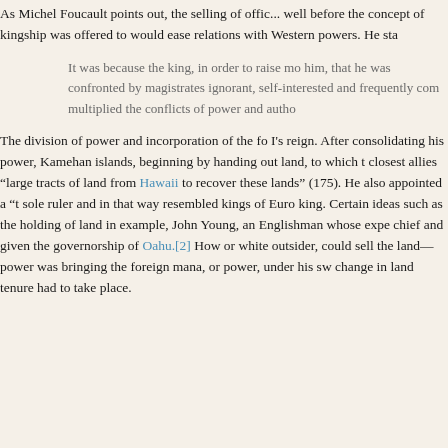As Michel Foucault points out, the selling of offic... well before the concept of kingship was offered to... would ease relations with Western powers. He sta...
It was because the king, in order to raise mo... him, that he was confronted by magistrates... ignorant, self-interested and frequently com... multiplied the conflicts of power and autho...
The division of power and incorporation of the fo... I's reign. After consolidating his power, Kamehan... islands, beginning by handing out land, to which t... closest allies “large tracts of land from Hawaii to... recover these lands” (175). He also appointed a “t... sole ruler and in that way resembled kings of Euro... king. Certain ideas such as the holding of land in... example, John Young, an Englishman whose expe... chief and given the governorship of Oahu.[2] How... or white outsider, could sell the land—power was... bringing the foreign mana, or power, under his sw... change in land tenure had to take place.